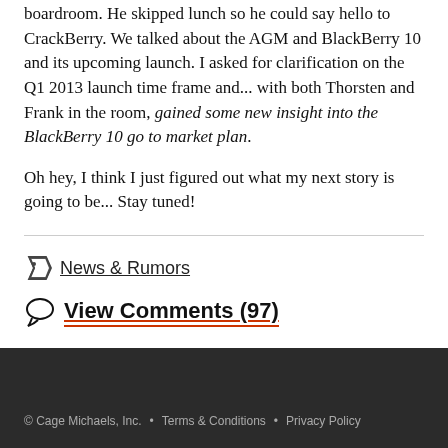boardroom. He skipped lunch so he could say hello to CrackBerry. We talked about the AGM and BlackBerry 10 and its upcoming launch. I asked for clarification on the Q1 2013 launch time frame and... with both Thorsten and Frank in the room, gained some new insight into the BlackBerry 10 go to market plan.
Oh hey, I think I just figured out what my next story is going to be... Stay tuned!
News & Rumors
View Comments (97)
© Cage Michaels, Inc.  •  Terms & Conditions  •  Privacy Policy